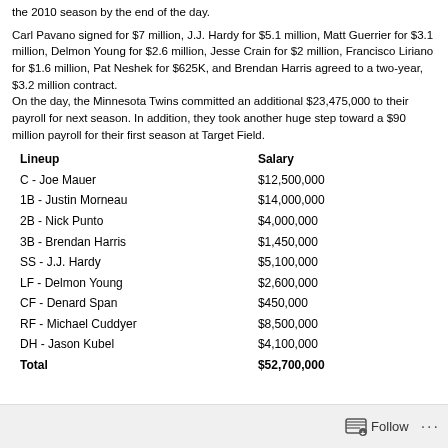the 2010 season by the end of the day.
Carl Pavano signed for $7 million, J.J. Hardy for $5.1 million, Matt Guerrier for $3.1 million, Delmon Young for $2.6 million, Jesse Crain for $2 million, Francisco Liriano for $1.6 million, Pat Neshek for $625K, and Brendan Harris agreed to a two-year, $3.2 million contract.
On the day, the Minnesota Twins committed an additional $23,475,000 to their payroll for next season. In addition, they took another huge step toward a $90 million payroll for their first season at Target Field.
| Lineup | Salary |
| --- | --- |
| C - Joe Mauer | $12,500,000 |
| 1B - Justin Morneau | $14,000,000 |
| 2B - Nick Punto | $4,000,000 |
| 3B - Brendan Harris | $1,450,000 |
| SS - J.J. Hardy | $5,100,000 |
| LF - Delmon Young | $2,600,000 |
| CF - Denard Span | $450,000 |
| RF - Michael Cuddyer | $8,500,000 |
| DH - Jason Kubel | $4,100,000 |
| Total | $52,700,000 |
Follow ···